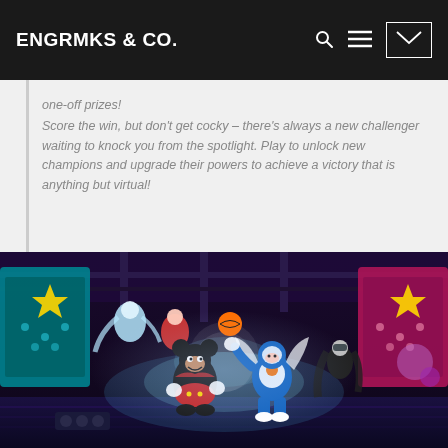ENGRMKS & CO.
one-off prizes! Score the win, but don't get cocky – there's always a new challenger waiting to knock you from the spotlight. Play to unlock new champions and upgrade their powers to achieve a victory that is anything but virtual!
[Figure (photo): Disney Melee Mania game screenshot showing Mickey Mouse, Buzz Lightyear, and other Disney characters in a colorful arena with purple and pink banners and star decorations]